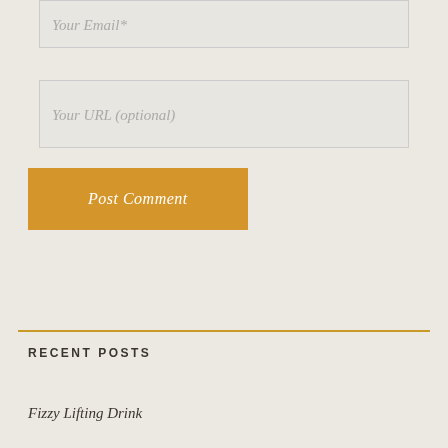Your Email*
Your URL (optional)
Post Comment
RECENT POSTS
Fizzy Lifting Drink